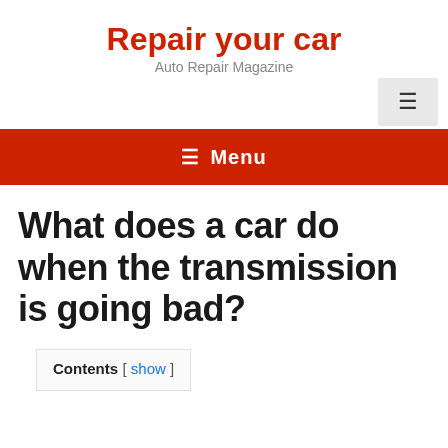Repair your car
Auto Repair Magazine
[Figure (screenshot): Hamburger menu icon in a light grey box in the top right corner]
≡ Menu
What does a car do when the transmission is going bad?
Contents [ show ]